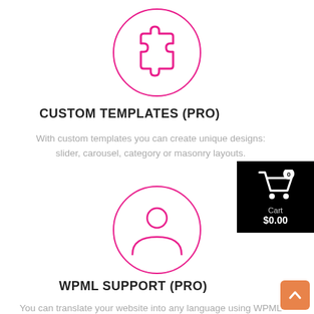[Figure (illustration): Pink circle with puzzle piece icon inside]
CUSTOM TEMPLATES (PRO)
With custom templates you can create unique designs: slider, carousel, category or masonry layouts.
[Figure (illustration): Pink circle with person/user icon inside]
[Figure (other): Black shopping cart widget showing Cart $0.00 with badge 0]
WPML SUPPORT (PRO)
You can translate your website into any language using WPML plugin or even use .po and .mo files as well.
[Figure (other): Orange scroll-to-top arrow button]